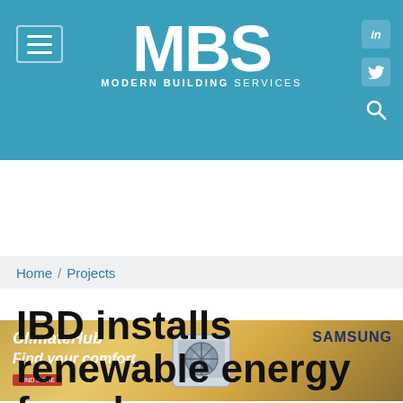[Figure (screenshot): MBS Modern Building Services website header with teal background, hamburger menu icon on left, large white MBS logo in center, LinkedIn and Twitter social icons and search icon on right]
[Figure (infographic): Samsung ClimateHub advertisement banner with gold/yellow gradient background, white italic text reading ClimateHub Find your comfort., AC unit image in center, SAMSUNG branding on right]
Home / Projects
IBD installs renewable energy for a large new house in Devon